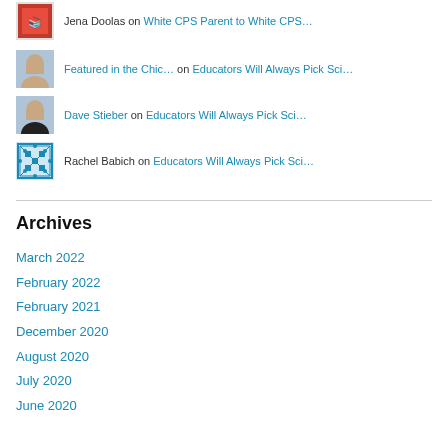Jena Doolas on White CPS Parent to White CPS…
Featured in the Chic… on Educators Will Always Pick Sci…
Dave Stieber on Educators Will Always Pick Sci…
Rachel Babich on Educators Will Always Pick Sci…
Archives
March 2022
February 2022
February 2021
December 2020
August 2020
July 2020
June 2020